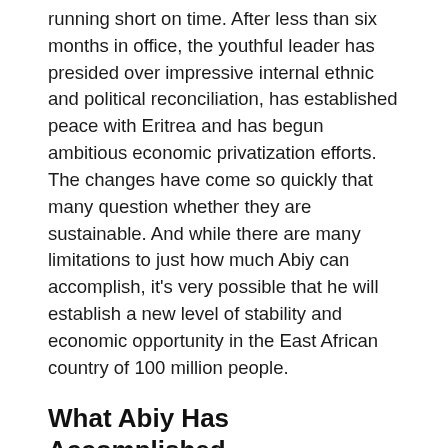running short on time. After less than six months in office, the youthful leader has presided over impressive internal ethnic and political reconciliation, has established peace with Eritrea and has begun ambitious economic privatization efforts. The changes have come so quickly that many question whether they are sustainable. And while there are many limitations to just how much Abiy can accomplish, it's very possible that he will establish a new level of stability and economic opportunity in the East African country of 100 million people.
What Abiy Has Accomplished
The wave of support for Abiy emerged from massive protests against the government in 2016. At that time, an angry and increasingly educated youth population, shut out from the top-heavy economy, began expressing its discontent across the country — from the large and marginalized region of Oromia...